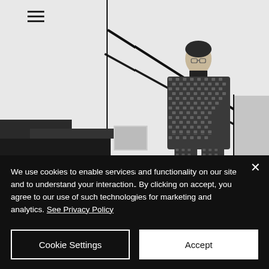[Figure (photo): Black and white fashion photo of a male model wearing a textured black and white patterned long coat and matching trousers, standing in a minimalist interior with diagonal black lines on white walls and geometric black furniture elements. A hamburger menu icon is visible in the upper left area.]
We use cookies to enable services and functionality on our site and to understand your interaction. By clicking on accept, you agree to our use of such technologies for marketing and analytics. See Privacy Policy
Cookie Settings
Accept